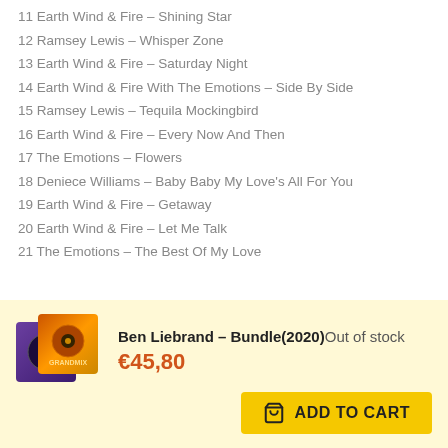11 Earth Wind & Fire – Shining Star
12 Ramsey Lewis – Whisper Zone
13 Earth Wind & Fire – Saturday Night
14 Earth Wind & Fire With The Emotions – Side By Side
15 Ramsey Lewis – Tequila Mockingbird
16 Earth Wind & Fire – Every Now And Then
17 The Emotions – Flowers
18 Deniece Williams – Baby Baby My Love's All For You
19 Earth Wind & Fire – Getaway
20 Earth Wind & Fire – Let Me Talk
21 The Emotions – The Best Of My Love
Ben Liebrand – Bundle(2020) Out of stock €45,80